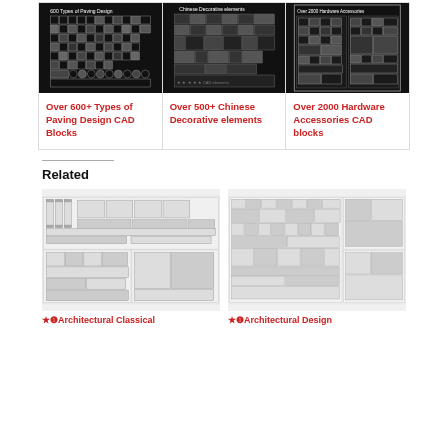[Figure (other): CAD block collection thumbnail: Over 600+ Types of Paving Design CAD Blocks, dark background with white pattern samples]
[Figure (other): CAD block collection thumbnail: Chinese Decorative elements, dark background with decorative pattern samples]
[Figure (other): CAD block collection thumbnail: Over 2000 Hardware Accessories, dark background with hardware samples]
Over 600+ Types of Paving Design CAD Blocks
Over 500+ Chinese Decorative elements
Over 2000 Hardware Accessories CAD blocks
Related
[Figure (other): Architectural Classical CAD blocks thumbnail, white/grey background with architectural elements]
[Figure (other): Architectural Design CAD blocks thumbnail, white/grey background with design elements]
★ Architectural Classical
★ Architectural Design